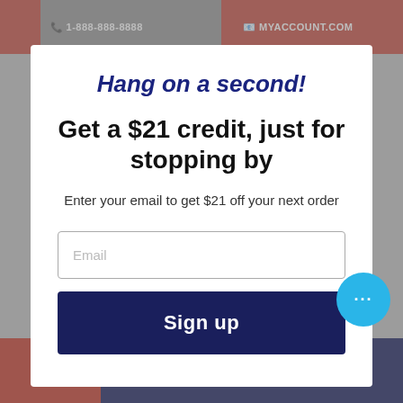Website header bar with navigation
Hang on a second!
Get a $21 credit, just for stopping by
Enter your email to get $21 off your next order
Email
Sign up
Bottom navigation bar with cart, basket (0), heart, and up arrow icons